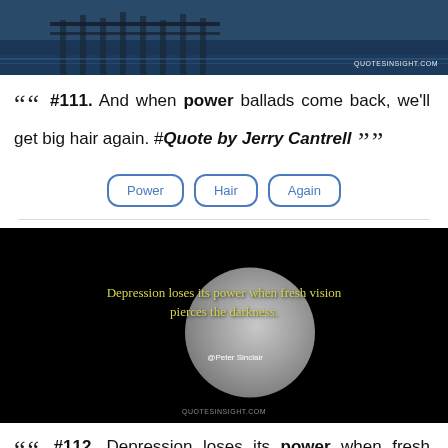[Figure (photo): Dock/pier over water with blue-grey tones, watermark QUOTESINSIGHT.COM]
““ #111. And when power ballads come back, we'll get big hair again. #Quote by Jerry Cantrell ””
Power
Hair
Again
[Figure (photo): Dark background with moon image and quote text: Depression loses its power when fresh vision pierces the darkness. @Peter Sinclair. Watermark: QUOTESINSIGHT.COM]
““ #112. Depression loses its power when fresh vision